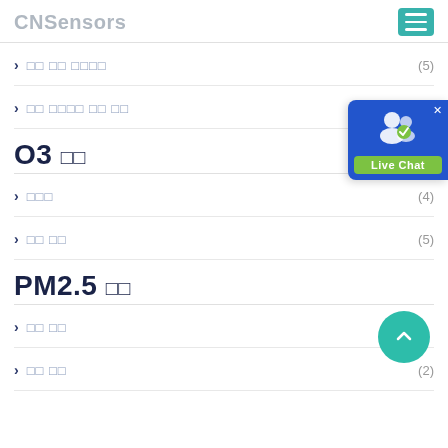CNSensors
제품 및 솔루션 (5)
대기 환경 모니터링 (5)
O3 센서
제품소개 (4)
기술 사양 (5)
PM2.5 센서
제품 소개
기술 사양 (2)